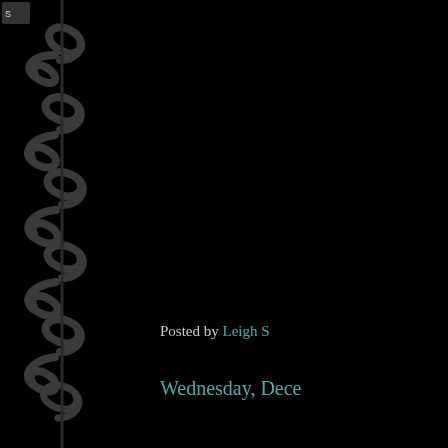[Figure (illustration): Dark black background with decorative dark gray baroque/floral scrollwork ornament along the left edge, with a small logo or icon visible in the top-left corner.]
Posted by Leigh S
Wednesday, Dece